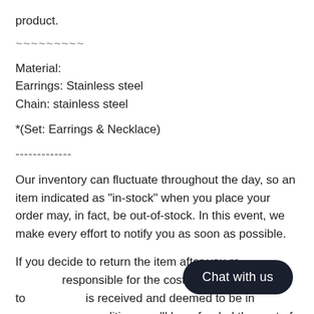product.
~~~~~~~~~
Material:
Earrings: Stainless steel
Chain: stainless steel
*(Set: Earrings & Necklace)
-------------
Our inventory can fluctuate throughout the day, so an item indicated as "in-stock" when you place your order may, in fact, be out-of-stock. In this event, we make every effort to notify you as soon as possible.
If you decide to return the item after you re... responsible for the cost of shipping back to... is received and deemed to be in unworn, new condition, you'll be refunded the cost of your purchase minus shipping. If your order...